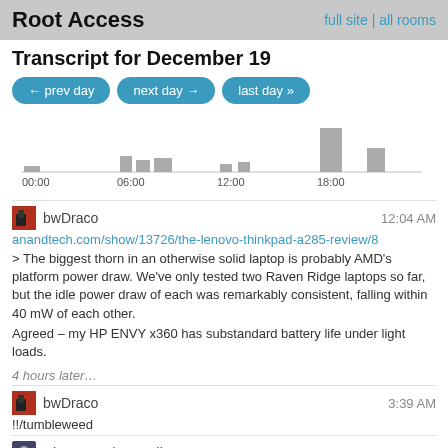Root Access | full site | all rooms
Transcript for December 19
[Figure (bar-chart): Activity over December 19]
bwDraco 12:04 AM
anandtech.com/show/13726/the-lenovo-thinkpad-a285-review/8
> The biggest thorn in an otherwise solid laptop is probably AMD's platform power draw. We've only tested two Raven Ridge laptops so far, but the idle power draw of each was remarkably consistent, falling within 40 mW of each other.

Agreed – my HP ENVY x360 has substandard battery life under light loads.
4 hours later…
bwDraco 3:39 AM
!!/tumbleweed
ChatBot John Cavil 3:39 AM
[Figure (photo): Sky with clouds and a pole, from an automated webcam or similar source]